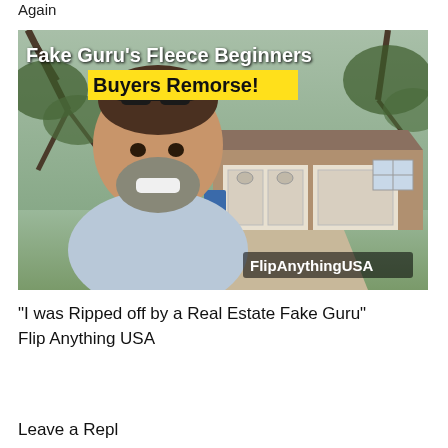Again
[Figure (photo): YouTube video thumbnail showing a smiling middle-aged man with sunglasses on his head taking a selfie in front of a brick ranch house with a two-car garage. Overlaid text reads 'Fake Guru's Fleece Beginners Buyers Remorse!' with 'Buyers Remorse!' highlighted in yellow. Brand watermark 'FlipAnythingUSA' in lower right of thumbnail.]
“I was Ripped off by a Real Estate Fake Guru” Flip Anything USA
Leave a Repl